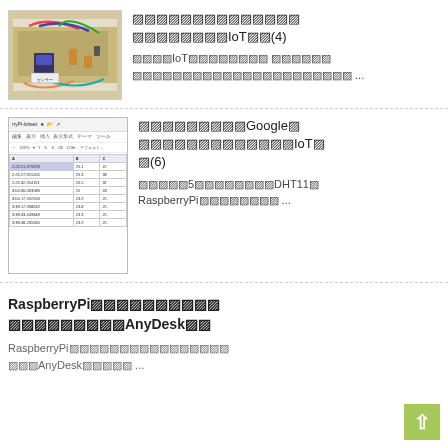[Figure (photo): Breadboard with electronic components, wires, and a sensor connected — IoT hardware setup]
〇〇〇〇〇〇〇〇〇〇〇〇〇〇〇〇〇〇〇〇〇〇IoT〇〇(4)
〇〇〇〇IoT〇〇〇〇〇〇〇〇〇〇 〇〇〇〇〇〇〇〇〇〇〇〇〇〇〇〇〇〇〇〇〇〇〇〇〇〇〇〇〇 ...
[Figure (screenshot): Google Spreadsheet screenshot showing rryPi-lsheet with data table containing timestamps and numeric values]
〇〇〇〇〇〇〇〇〇〇〇Google〇〇〇〇〇〇〇〇〇〇〇〇〇〇〇〇IoT〇〇(6)
〇〇〇〇〇5〇〇〇〇〇〇〇〇〇〇〇〇DHT11〇RaspberryPi〇〇〇〇〇〇〇〇〇 ...
RaspberryPi〇〇〇〇〇〇〇〇〇〇〇〇〇〇〇〇〇〇〇〇〇AnyDesk〇〇
RaspberryPi〇〇〇〇〇〇〇〇〇〇〇〇〇〇〇〇〇〇AnyDesk〇〇〇〇〇 ...